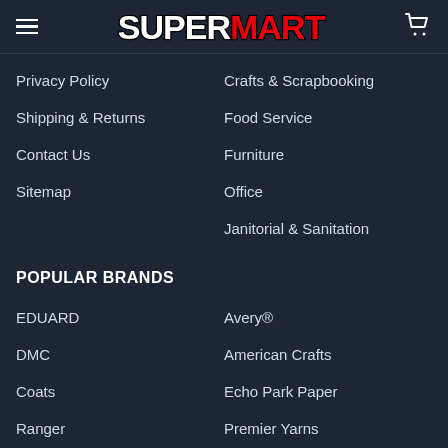SUPERMART
Privacy Policy
Crafts & Scrapbooking
Shipping & Returns
Food Service
Contact Us
Furniture
Sitemap
Office
Janitorial & Sanitation
POPULAR BRANDS
EDUARD
Avery®
DMC
American Crafts
Coats
Echo Park Paper
Ranger
Premier Yarns
Deco Art
View All